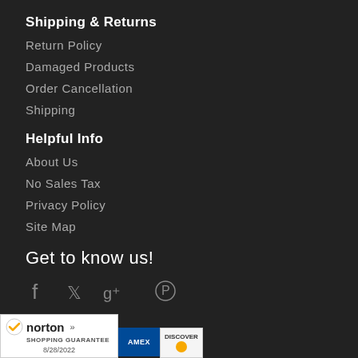Shipping & Returns
Return Policy
Damaged Products
Order Cancellation
Shipping
Helpful Info
About Us
No Sales Tax
Privacy Policy
Site Map
Get to know us!
[Figure (illustration): Social media icons: Facebook, Twitter, Google+, Pinterest]
We Accept
[Figure (logo): Norton Shopping Guarantee badge dated 8/28/2022, AMEX and Discover payment badges]